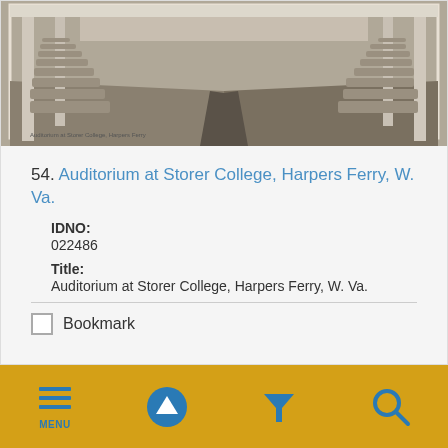[Figure (photo): Black and white photograph of the interior of an auditorium at Storer College, Harpers Ferry, W. Va., showing rows of chairs receding into the distance with columns on the sides.]
54. Auditorium at Storer College, Harpers Ferry, W. Va.
IDNO:
022486
Title:
Auditorium at Storer College, Harpers Ferry, W. Va.
Bookmark
[Figure (screenshot): Mobile app navigation bar with gold background containing four icon buttons: MENU (hamburger icon), up-arrow circle, filter funnel, and search magnifier — all in blue.]